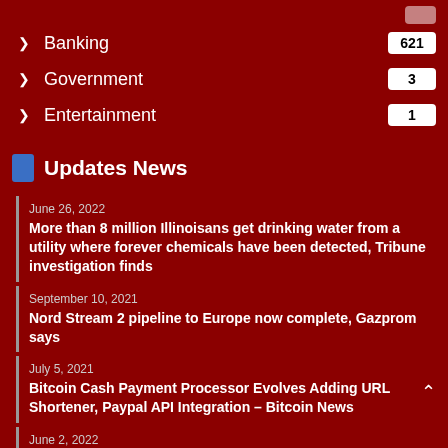Banking 621
Government 3
Entertainment 1
Updates News
June 26, 2022
More than 8 million Illinoisans get drinking water from a utility where forever chemicals have been detected, Tribune investigation finds
September 10, 2021
Nord Stream 2 pipeline to Europe now complete, Gazprom says
July 5, 2021
Bitcoin Cash Payment Processor Evolves Adding URL Shortener, Paypal API Integration – Bitcoin News
June 2, 2022
Retired Channel 5 reporter Renee Ferguson lists 6-bedroom